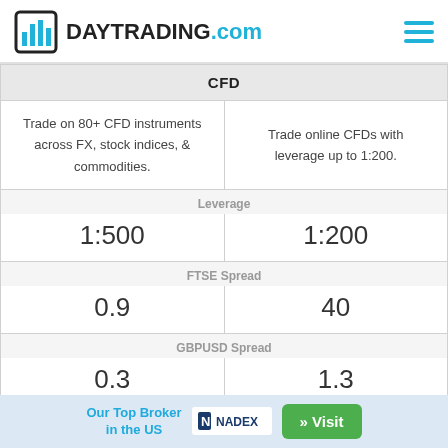DAYTRADING.com
| CFD |  |
| --- | --- |
| Trade on 80+ CFD instruments across FX, stock indices, & commodities. | Trade online CFDs with leverage up to 1:200. |
| Leverage |  |
| 1:500 | 1:200 |
| FTSE Spread |  |
| 0.9 | 40 |
| GBPUSD Spread |  |
| 0.3 | 1.3 |
| Oil Spread |  |
| 0.4 | 8 |
Our Top Broker in the US  NADEX  » Visit